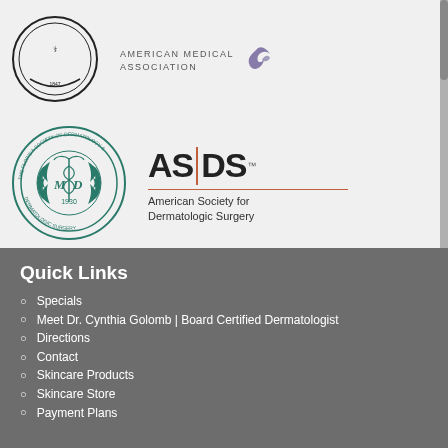[Figure (logo): Medical association logos in top section: a circular medical organization seal on the left and American Medical Association logo on the right (top row); Florida Society of Dermatology & Dermatologic Surgery circular teal seal on the left and ASDS American Society for Dermatologic Surgery logo on the right (bottom row)]
Quick Links
Specials
Meet Dr. Cynthia Golomb | Board Certified Dermatologist
Directions
Contact
Skincare Products
Skincare Store
Payment Plans